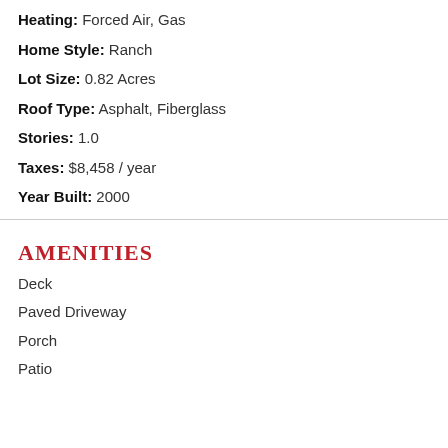Heating: Forced Air, Gas
Home Style: Ranch
Lot Size: 0.82 Acres
Roof Type: Asphalt, Fiberglass
Stories: 1.0
Taxes: $8,458 / year
Year Built: 2000
AMENITIES
Deck
Paved Driveway
Porch
Patio